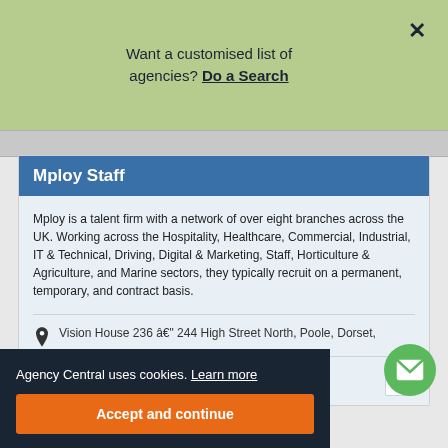Want a customised list of agencies? Do a Search
Mploy Staff
Mploy is a talent firm with a network of over eight branches across the UK. Working across the Hospitality, Healthcare, Commercial, Industrial, IT & Technical, Driving, Digital & Marketing, Staff, Horticulture & Agriculture, and Marine sectors, they typically recruit on a permanent, temporary, and contract basis.
Vision House 236 – 244 High Street North, Poole, Dorset,
Visit website
Agency Central uses cookies. Learn more
Accept and continue